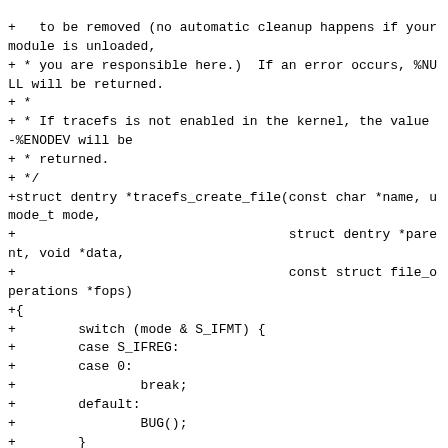+   to be removed (no automatic cleanup happens if your module is unloaded,
+ * you are responsible here.)  If an error occurs, %NULL will be returned.
+ *
+ * If tracefs is not enabled in the kernel, the value -%ENODEV will be
+ * returned.
+ */
+struct dentry *tracefs_create_file(const char *name, umode_t mode,
+                                   struct dentry *parent, void *data,
+                                   const struct file_operations *fops)
+{
+        switch (mode & S_IFMT) {
+        case S_IFREG:
+        case 0:
+                break;
+        default:
+                BUG();
+        }
+
+        return __create_file(name, mode, parent, data, fops);
+}
+
+/**
+ * tracefs_create_dir - create a directory in the tracefs filesystem